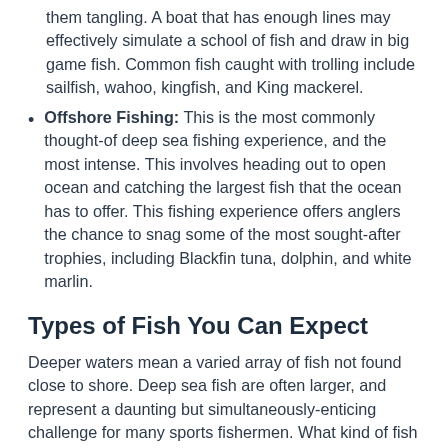them tangling. A boat that has enough lines may effectively simulate a school of fish and draw in big game fish. Common fish caught with trolling include sailfish, wahoo, kingfish, and King mackerel.
Offshore Fishing: This is the most commonly thought-of deep sea fishing experience, and the most intense. This involves heading out to open ocean and catching the largest fish that the ocean has to offer. This fishing experience offers anglers the chance to snag some of the most sought-after trophies, including Blackfin tuna, dolphin, and white marlin.
Types of Fish You Can Expect
Deeper waters mean a varied array of fish not found close to shore. Deep sea fish are often larger, and represent a daunting but simultaneously-enticing challenge for many sports fishermen. What kind of fish can you expect? That depends on where you're fishing, but these are a few of the most commonly-sought trophies: